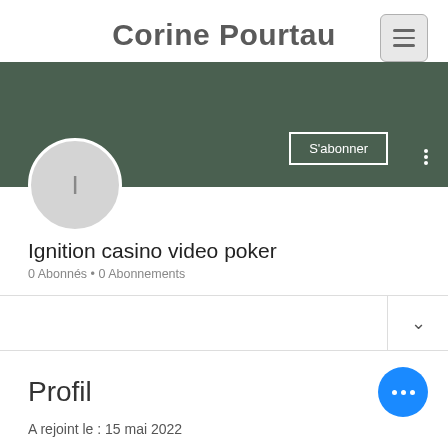Corine Pourtau
[Figure (screenshot): User profile banner with dark green background, subscribe button, avatar circle with letter I, channel name, subscriber stats, divider row with chevron, Profil section with blue dots button and join date]
Ignition casino video poker
0 Abonnés • 0 Abonnements
Profil
A rejoint le : 15 mai 2022